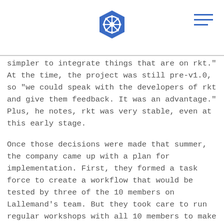[Kubernetes logo] [hamburger menu]
simpler to integrate things that are on rkt." At the time, the project was still pre-v1.0, so "we could speak with the developers of rkt and give them feedback. It was an advantage." Plus, he notes, rkt was very stable, even at this early stage.
Once those decisions were made that summer, the company came up with a plan for implementation. First, they formed a task force to create a workflow that would be tested by three of the 10 members on Lallemand’s team. But they took care to run regular workshops with all 10 members to make sure everyone was on board. "When you’re focused on your product sometimes you forget if it’s really user friendly, whether